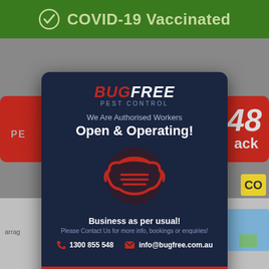[Figure (screenshot): Mobile app screenshot showing COVID-19 Vaccinated banner at top (green background with checkmark), partially visible BugFree Pest Control app interface behind a modal popup dialog]
BUG FREE PEST CONTROL
We Are Authorised Workers
Open & Operating!
[Figure (illustration): Red face mask icon on dark navy background]
Business as per usual!
Please Contact Us for more info, bookings or enquiries!
1300 855 548   info@bugfree.com.au
Close